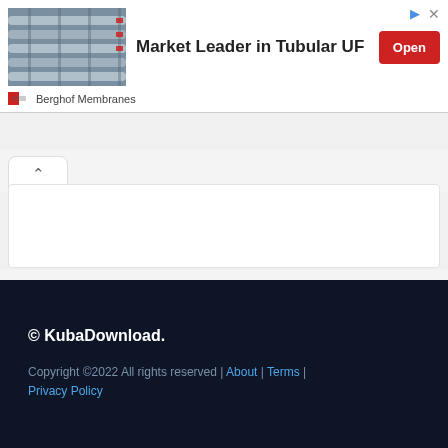[Figure (photo): Advertisement banner: industrial tubular pipes/membranes photo on the left, bold text 'Market Leader in Tubular UF' in center, red 'Open' button on right, advertiser name 'Berghof Membranes']
© KubaDownload.
Copyright ©2022 All rights reserved | About | Terms | Privacy Policy